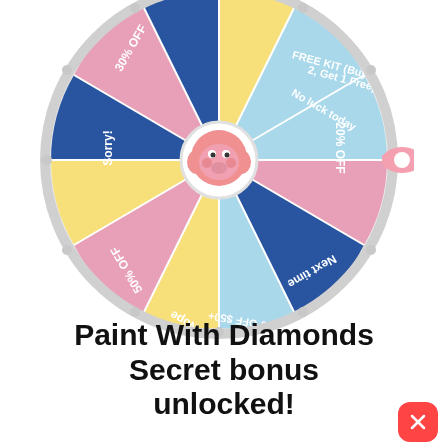[Figure (illustration): Spin-the-wheel prize wheel with colored segments showing: 30% OFF, Sorry!, 50% OFF, Nope, $20 OFF $50+, Next time, 20% OFF, No luck today, FREE KIT (Buy 2 Get 1 Free), and more segments. A pink pointer on the right side points to 'No luck today'. A cartoon pink elephant face is at the center hub.]
Paint With Diamonds Secret bonus unlocked!